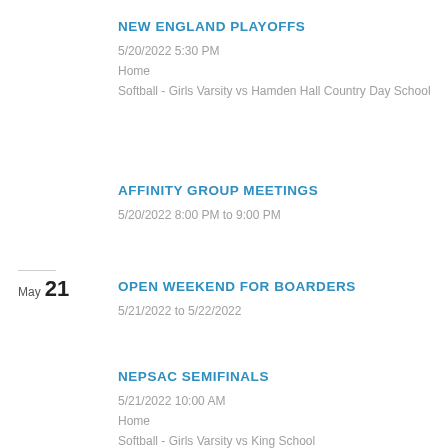NEW ENGLAND PLAYOFFS
5/20/2022 5:30 PM
Home
Softball - Girls Varsity vs Hamden Hall Country Day School
AFFINITY GROUP MEETINGS
5/20/2022 8:00 PM to 9:00 PM
May 21
OPEN WEEKEND FOR BOARDERS
5/21/2022 to 5/22/2022
NEPSAC SEMIFINALS
5/21/2022 10:00 AM
Home
Softball - Girls Varsity vs King School